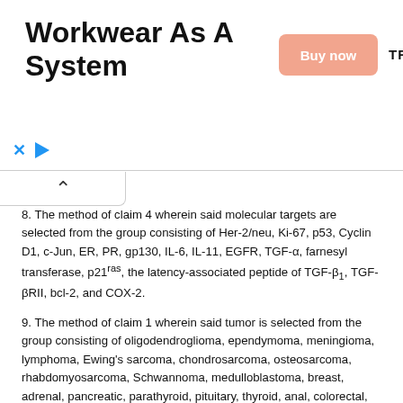[Figure (other): Advertisement banner for Truewerk workwear with 'Buy now' button and brand logo]
8. The method of claim 4 wherein said molecular targets are selected from the group consisting of Her-2/neu, Ki-67, p53, Cyclin D1, c-Jun, ER, PR, gp130, IL-6, IL-11, EGFR, TGF-α, farnesyl transferase, p21ras, the latency-associated peptide of TGF-β1, TGF-βRII, bcl-2, and COX-2.
9. The method of claim 1 wherein said tumor is selected from the group consisting of oligodendroglioma, ependymoma, meningioma, lymphoma, Ewing's sarcoma, chondrosarcoma, osteosarcoma, rhabdomyosarcoma, Schwannoma, medulloblastoma, breast, adrenal, pancreatic, parathyroid, pituitary, thyroid, anal, colorectal, esophageal, gall bladder, gastric, hepatoma, small intestine, cervical, endometrial, uterine, fallopian tube, ovarian, vaginal, vulvar, laryngeal, oropharyngeal, acute lymphocytic leukemia, acute myelogenous leukemia, chronic lymphocytic leukemia, chronic myogenous leukemia, hairy cell leukemia, mesothelioma, non small-cell lung carcinoma, small cell-lung carcinoma, AIDS-related lymphoma, cutaneous T-cell lymphoma, Hodgkin's disease, non-Hodgkins, myeloma, penile, prostrate, melanoma, Kaposi's sarcoma, testicular,